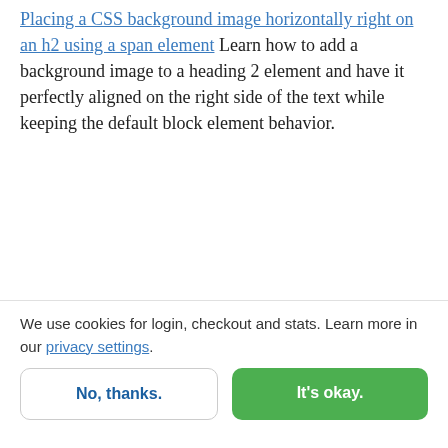Placing a CSS background image horizontally right on an h2 using a span element Learn how to add a background image to a heading 2 element and have it perfectly aligned on the right side of the text while keeping the default block element behavior.
[Figure (screenshot): A box showing 'Example 1:' label, then a light blue heading 'Suspendisse nec dolor proin sodales' with a clock icon on the right, and 'Example 2:' label below.]
We use cookies for login, checkout and stats. Learn more in our privacy settings.
No, thanks. | It's okay.